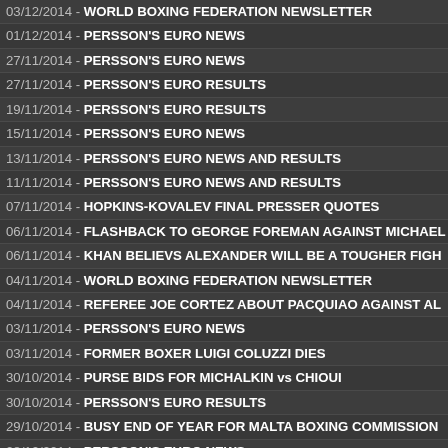03/12/2014 - WORLD BOXING FEDERATION NEWSLETTER
01/12/2014 - PERSSON'S EURO NEWS
27/11/2014 - PERSSON'S EURO NEWS
27/11/2014 - PERSSON'S EURO RESULTS
19/11/2014 - PERSSON'S EURO RESULTS
15/11/2014 - PERSSON'S EURO NEWS
13/11/2014 - PERSSON'S EURO NEWS AND RESULTS
11/11/2014 - PERSSON'S EURO NEWS AND RESULTS
07/11/2014 - HOPKINS-KOVALEV FINAL PRESSER QUOTES
06/11/2014 - FLASHBACK TO GEORGE FOREMAN AGAINST MICHAEL
06/11/2014 - KHAN BELIEVS ALEXANDER WILL BE A TOUGHER FIGH
04/11/2014 - WORLD BOXING FEDERATION NEWSLETTER
04/11/2014 - REFEREE JOE CORTEZ ABOUT PACQUIAO AGAINST AL
03/11/2014 - PERSSON'S EURO NEWS
03/11/2014 - FORMER BOXER LUIGI COLUZZI DIES
30/10/2014 - PURSE BIDS FOR MICHALKIN vs CHIOUI
30/10/2014 - PERSSON'S EURO RESULTS
29/10/2014 - BUSY END OF YEAR FOR MALTA BOXING COMMISSION
28/10/2014 - PERSSON'S EURO NEWS
28/10/2014 - MARSTON REIGNS VICTORIOUS, OZGUL & COUNIHAN IM
27/10/2014 - MARSTON BEATES GULYAS TO SECURE MBC INT'L BEL
24/10/2014 - MARSTON vs GULYAS WEIGHTS & QUOTES FROM LOND
23/10/2014 - PERSSON'S EURO NEWS AND RESULTS
23/10/2014 - STARS LIMITLESS & EX CHAMP HAMILTON THIS SATURD
22/10/2014 - DEAKIN OUT, STULGINSKAS IN FOR ALEXANDER THIS S
21/10/2014 - DECASTRO MAKES HIS THIRD OUTING 25TH OCTOBER
21/10/2014 - MARSTON RECEIVES AN INVITATION TO CHALLENGE O